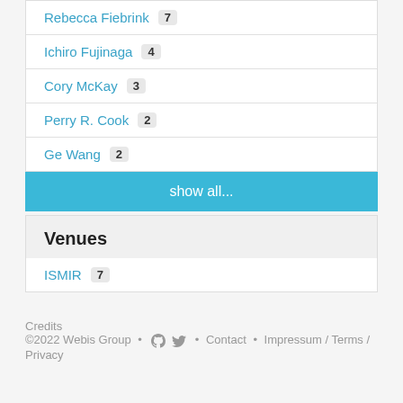Rebecca Fiebrink 7
Ichiro Fujinaga 4
Cory McKay 3
Perry R. Cook 2
Ge Wang 2
show all...
Venues
ISMIR 7
Credits
©2022 Webis Group • [github] [twitter] • Contact • Impressum / Terms / Privacy